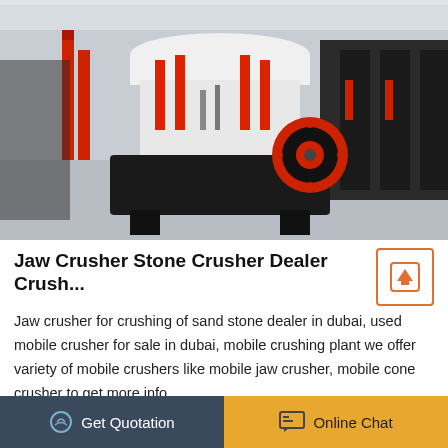[Figure (photo): Industrial stone crusher / cone crusher machine in a factory warehouse setting. The machine is white and black with red hydraulic cylinders and a red flywheel. Multiple similar machines visible in background.]
Jaw Crusher Stone Crusher Dealer Crush...
Jaw crusher for crushing of sand stone dealer in dubai, used mobile crusher for sale in dubai, mobile crushing plant we offer variety of mobile crushers like mobile jaw crusher, mobile cone crusher to get more info.
MORE DETAILS
Get Quotation   Online Chat